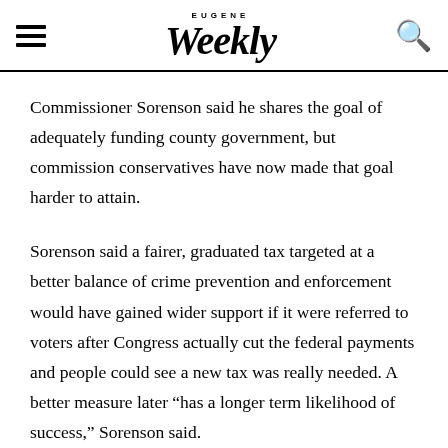EUGENE Weekly
Commissioner Sorenson said he shares the goal of adequately funding county government, but commission conservatives have now made that goal harder to attain.
Sorenson said a fairer, graduated tax targeted at a better balance of crime prevention and enforcement would have gained wider support if it were referred to voters after Congress actually cut the federal payments and people could see a new tax was really needed. A better measure later "has a longer term likelihood of success," Sorenson said.